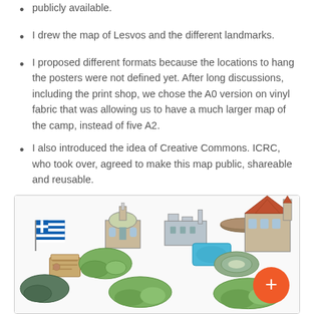I drew the map of Lesvos and the different landmarks.
I proposed different formats because the locations to hang the posters were not defined yet. After long discussions, including the print shop, we chose the A0 version on vinyl fabric that was allowing us to have a much larger map of the camp, instead of five A2.
I also introduced the idea of Creative Commons. ICRC, who took over, agreed to make this map public, shareable and reusable.
[Figure (illustration): Map illustration showing various landmarks of Lesvos including buildings, a Greek flag, trees, and other icons arranged as a map legend or overview.]